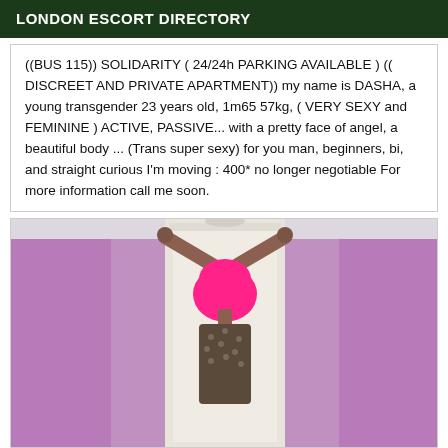LONDON ESCORT DIRECTORY
((BUS 115)) SOLIDARITY ( 24/24h PARKING AVAILABLE ) (( DISCREET AND PRIVATE APARTMENT)) my name is DASHA, a young transgender 23 years old, 1m65 57kg, ( VERY SEXY and FEMININE ) ACTIVE, PASSIVE... with a pretty face of angel, a beautiful body ... (Trans super sexy) for you man, beginners, bi, and straight curious I'm moving : 400* no longer negotiable For more information call me soon.
[Figure (photo): Photo of a person with pink hair from behind, arms raised above head touching a door frame, wearing a patterned outfit, against purple walls]